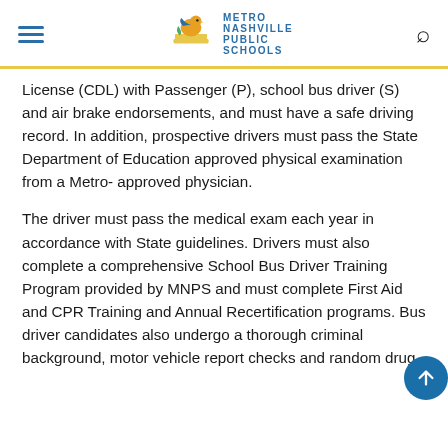Metro Nashville Public Schools
License (CDL) with Passenger (P), school bus driver (S) and air brake endorsements, and must have a safe driving record. In addition, prospective drivers must pass the State Department of Education approved physical examination from a Metro- approved physician.
The driver must pass the medical exam each year in accordance with State guidelines. Drivers must also complete a comprehensive School Bus Driver Training Program provided by MNPS and must complete First Aid and CPR Training and Annual Recertification programs. Bus driver candidates also undergo a thorough criminal background, motor vehicle report checks and random drug